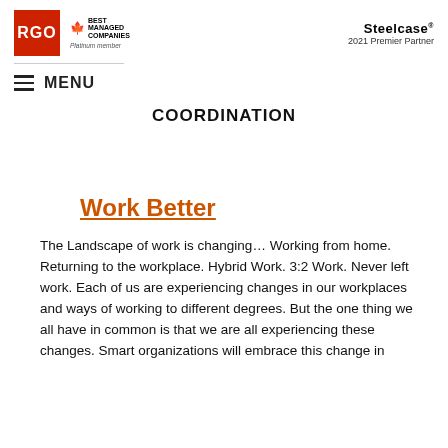[Figure (logo): RGO red square logo with white text, Canada's Best Managed Companies Platinum member badge, and Steelcase 2021 Premier Partner logo]
MENU
COORDINATION
Work Better
The Landscape of work is changing… Working from home. Returning to the workplace. Hybrid Work. 3:2 Work. Never left work. Each of us are experiencing changes in our workplaces and ways of working to different degrees. But the one thing we all have in common is that we are all experiencing these changes. Smart organizations will embrace this change in